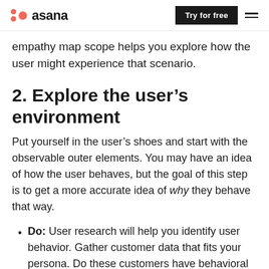asana | Try for free
empathy map scope helps you explore how the user might experience that scenario.
2. Explore the user’s environment
Put yourself in the user’s shoes and start with the observable outer elements. You may have an idea of how the user behaves, but the goal of this step is to get a more accurate idea of why they behave that way.
Do: User research will help you identify user behavior. Gather customer data that fits your persona. Do these customers have behavioral patterns? This data can start to show you the